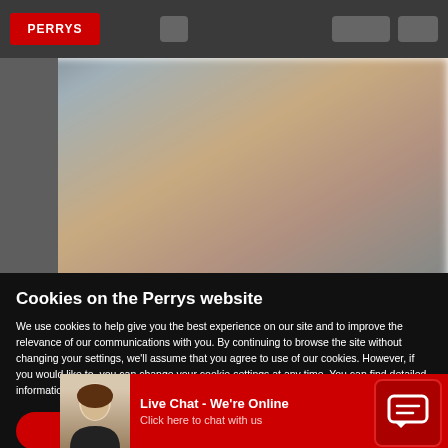[Figure (screenshot): Website navigation bar with Perrys logo in red on dark gray background, with navigation icons]
[Figure (photo): Blurred hero image of cars on a dealership lot with warm tones]
Cookies on the Perrys website
We use cookies to help give you the best experience on our site and to improve the relevance of our communications with you. By continuing to browse the site without changing your settings, we'll assume that you agree to use of our cookies. However, if you would like to, you can change your cookie settings at any time. You can find detailed information about how cookies are used on this website by clicking Cookie Policy.
OK
Cookie Policy
Live Chat - We're Online
Click here to chat with us